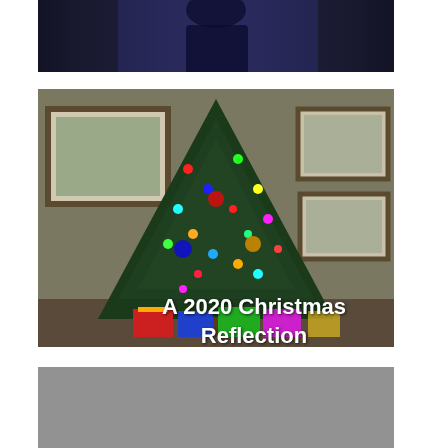[Figure (photo): Dark photo of a person partially visible, dark blue/purple background, cropped at top]
[Figure (photo): Christmas tree decorated with colorful lights and ornaments, presents underneath, framed pictures on wall in background, with text overlay 'A 2020 Christmas Reflection']
[Figure (photo): Gray/muted background photo with partial text overlay beginning 'I'm an Evangelical']